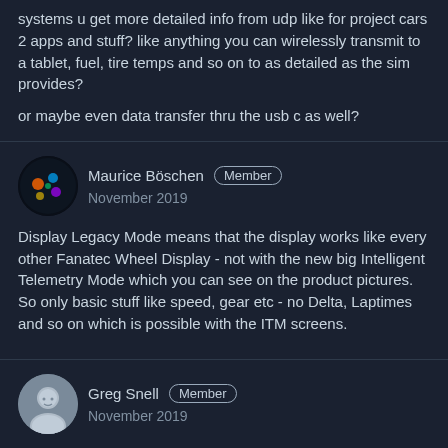systems u get more detailed info from udp like for project cars 2 apps and stuff? like anything you can wirelessly transmit to a tablet, fuel, tire temps and so on to as detailed as the sim provides?

or maybe even data transfer thru the usb c as well?
Maurice Böschen  Member
November 2019
Display Legacy Mode means that the display works like every other Fanatec Wheel Display - not with the new big Intelligent Telemetry Mode which you can see on the product pictures. So only basic stuff like speed, gear etc - no Delta, Laptimes and so on which is possible with the ITM screens.
Greg Snell  Member
November 2019